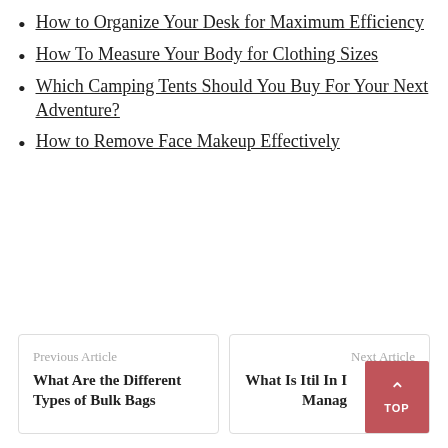How to Organize Your Desk for Maximum Efficiency
How To Measure Your Body for Clothing Sizes
Which Camping Tents Should You Buy For Your Next Adventure?
How to Remove Face Makeup Effectively
Previous Article: What Are the Different Types of Bulk Bags | Next Article: What Is Itil In ... Manage...